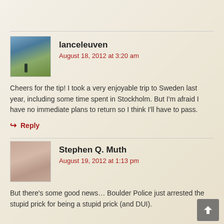[Figure (photo): Avatar photo of lanceleuven showing a person standing in a landscape with sky]
lanceleuven
August 18, 2012 at 3:20 am
Cheers for the tip! I took a very enjoyable trip to Sweden last year, including some time spent in Stockholm. But I'm afraid I have no immediate plans to return so I think I'll have to pass.
↪ Reply
[Figure (photo): Avatar photo of Stephen Q. Muth showing a close-up of a cat's face]
Stephen Q. Muth
August 19, 2012 at 1:13 pm
But there's some good news… Boulder Police just arrested the stupid prick for being a stupid prick (and DUI).